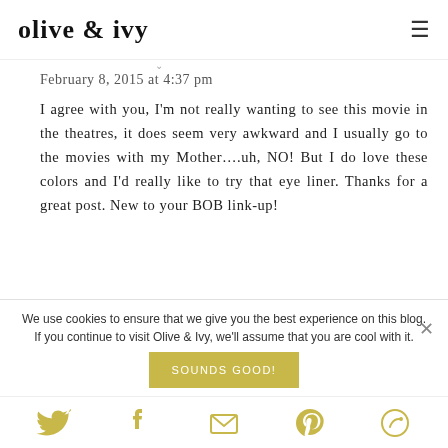olive & ivy
February 8, 2015 at 4:37 pm
I agree with you, I'm not really wanting to see this movie in the theatres, it does seem very awkward and I usually go to the movies with my Mother….uh, NO! But I do love these colors and I'd really like to try that eye liner. Thanks for a great post. New to your BOB link-up!
We use cookies to ensure that we give you the best experience on this blog. If you continue to visit Olive & Ivy, we'll assume that you are cool with it.
SOUNDS GOOD!